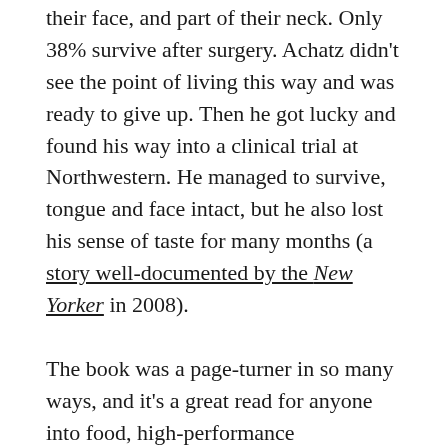their face, and part of their neck. Only 38% survive after surgery. Achatz didn't see the point of living this way and was ready to give up. Then he got lucky and found his way into a clinical trial at Northwestern. He managed to survive, tongue and face intact, but he also lost his sense of taste for many months (a story well-documented by the New Yorker in 2008).
The book was a page-turner in so many ways, and it's a great read for anyone into food, high-performance collaboration, design, or new media. It's a well-told story overall, but in my current state of exploration around impact, there was one brief, throwaway line in the Epilogue that caught my attention: